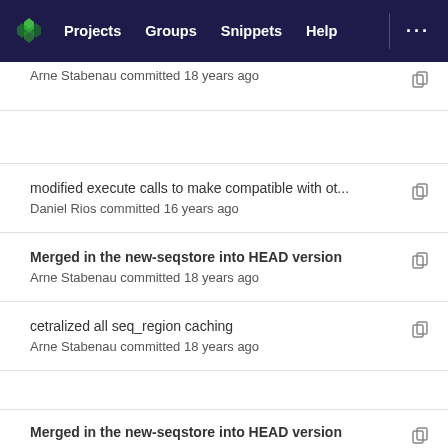Projects  Groups  Snippets  Help  ...
Arne Stabenau committed 18 years ago
modified execute calls to make compatible with ot...
Daniel Rios committed 16 years ago
Merged in the new-seqstore into HEAD version
Arne Stabenau committed 18 years ago
cetralized all seq_region caching
Arne Stabenau committed 18 years ago
Merged in the new-seqstore into HEAD version
Arne Stabenau committed 18 years ago